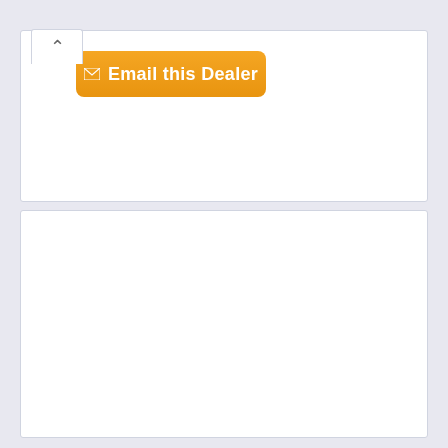[Figure (screenshot): A webpage UI fragment showing a collapsed panel with an up-arrow toggle button and an orange 'Email this Dealer' button with envelope icon. Below is a large white content area with light blue-gray background.]